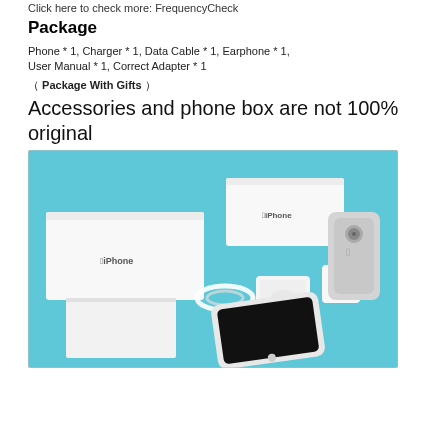Click here to check more: FrequencyCheck
Package
Phone * 1, Charger * 1, Data Cable * 1, Earphone * 1, User Manual * 1, Correct Adapter * 1
（ Package With Gifts ）
Accessories and phone box are not 100% original
[Figure (photo): iPhone package contents laid out on a blue background, including two white iPhone boxes, earphones in a case, a white USB charger, a data cable, a user manual/flat white card, and an iPhone (front and back visible).]